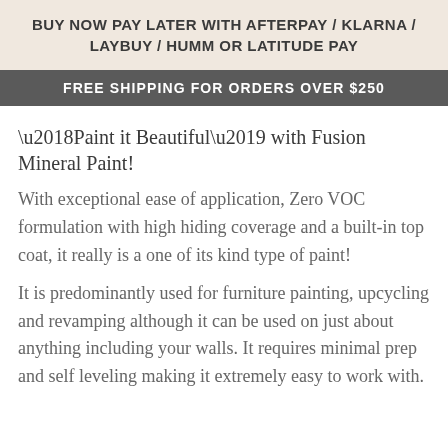BUY NOW PAY LATER WITH AFTERPAY / KLARNA / LAYBUY / HUMM OR LATITUDE PAY
FREE SHIPPING FOR ORDERS OVER $250
‘Paint it Beautiful’ with Fusion Mineral Paint!
With exceptional ease of application, Zero VOC formulation with high hiding coverage and a built-in top coat, it really is a one of its kind type of paint!
It is predominantly used for furniture painting, upcycling and revamping although it can be used on just about anything including your walls. It requires minimal prep and self leveling making it extremely easy to work with.